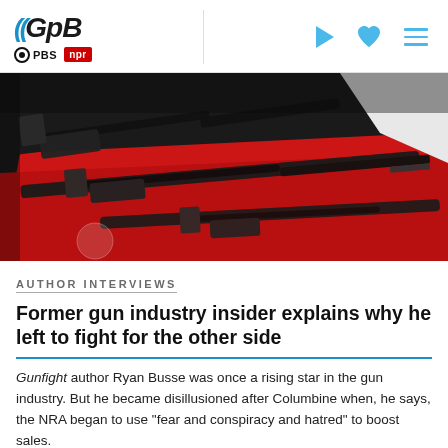GPB | PBS | NPR
[Figure (photo): Photograph of black semi-automatic rifles displayed on a red surface/tablecloth]
AUTHOR INTERVIEWS
Former gun industry insider explains why he left to fight for the other side
Gunfight author Ryan Busse was once a rising star in the gun industry. But he became disillusioned after Columbine when, he says, the NRA began to use "fear and conspiracy and hatred" to boost sales.
November 22, 2021  |  By: Dave Davies